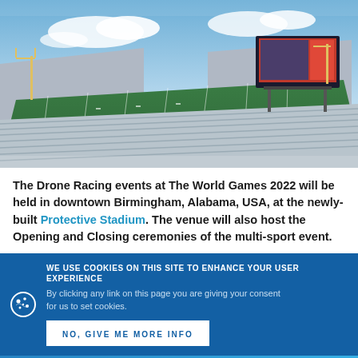[Figure (photo): Aerial view of Protective Stadium in Birmingham, Alabama — a large American football stadium with green field, empty white bleacher seats, a large video scoreboard, and blue sky with clouds above.]
The Drone Racing events at The World Games 2022 will be held in downtown Birmingham, Alabama, USA, at the newly-built Protective Stadium. The venue will also host the Opening and Closing ceremonies of the multi-sport event.
WE USE COOKIES ON THIS SITE TO ENHANCE YOUR USER EXPERIENCE
By clicking any link on this page you are giving your consent for us to set cookies.
NO, GIVE ME MORE INFO
There a... for drone racing and the venue has been well... by the course for drone... Aeromodelling Commission (CIM).
Located ... dium can be easily reached b...